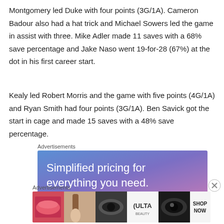Montgomery led Duke with four points (3G/1A). Cameron Badour also had a hat trick and Michael Sowers led the game in assist with three. Mike Adler made 11 saves with a 68% save percentage and Jake Naso went 19-for-28 (67%) at the dot in his first career start.
Kealy led Robert Morris and the game with five points (4G/1A) and Ryan Smith had four points (3G/1A). Ben Savick got the start in cage and made 15 saves with a 48% save percentage.
Advertisements
[Figure (other): Advertisement banner with gradient blue-purple background and text 'Simplified pricing for everything you need.']
Advertisements
[Figure (other): Advertisement banner showing Ulta Beauty makeup products with 'SHOP NOW' button]